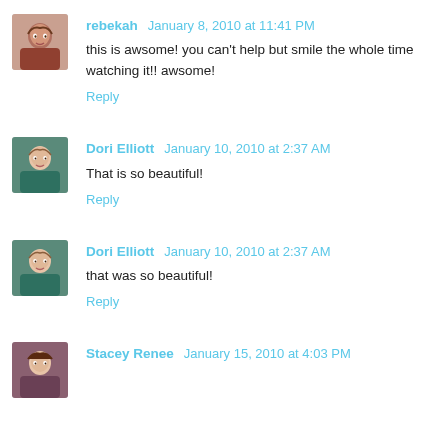[Figure (photo): Avatar photo of rebekah, a woman with brown hair]
rebekah January 8, 2010 at 11:41 PM
this is awsome! you can't help but smile the whole time watching it!! awsome!
Reply
[Figure (photo): Avatar photo of Dori Elliott, a woman in a teal top]
Dori Elliott January 10, 2010 at 2:37 AM
That is so beautiful!
Reply
[Figure (photo): Avatar photo of Dori Elliott, a woman in a teal top]
Dori Elliott January 10, 2010 at 2:37 AM
that was so beautiful!
Reply
[Figure (photo): Avatar photo of Stacey Renee]
Stacey Renee January 15, 2010 at 4:03 PM